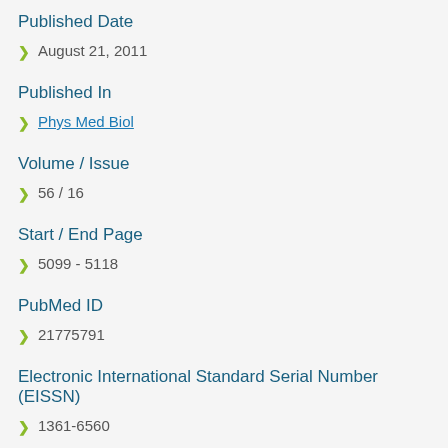Published Date
August 21, 2011
Published In
Phys Med Biol
Volume / Issue
56 / 16
Start / End Page
5099 - 5118
PubMed ID
21775791
Electronic International Standard Serial Number (EISSN)
1361-6560